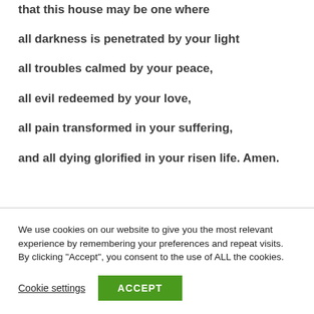that this house may be one where
all darkness is penetrated by your light
all troubles calmed by your peace,
all evil redeemed by your love,
all pain transformed in your suffering,
and all dying glorified in your risen life. Amen.
We use cookies on our website to give you the most relevant experience by remembering your preferences and repeat visits. By clicking “Accept”, you consent to the use of ALL the cookies.
Cookie settings
ACCEPT